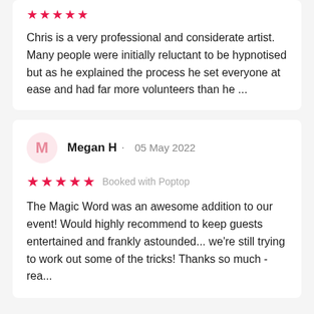Chris is a very professional and considerate artist. Many people were initially reluctant to be hypnotised but as he explained the process he set everyone at ease and had far more volunteers than he ...
Megan H · 05 May 2022
★★★★★ Booked with Poptop
The Magic Word was an awesome addition to our event! Would highly recommend to keep guests entertained and frankly astounded... we're still trying to work out some of the tricks! Thanks so much - rea...
Poptop Event Management / Magicians / Magicians in Devon / Magicians in Torquay